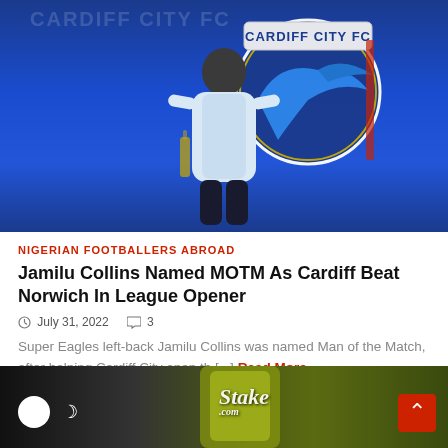[Figure (photo): A footballer wearing Cardiff City kit poses in front of the Cardiff City FC badge on a blue background, holding a bottle]
NIGERIAN FOOTBALLERS ABROAD
Jamilu Collins Named MOTM As Cardiff Beat Norwich In League Opener
July 31, 2022    3
Super Eagles left-back Jamilu Collins was named Man of the Match, after helping Cardiff City open th [...]
Read More
[Figure (photo): Partial photo of a football player wearing a yellow Stake.com jersey]